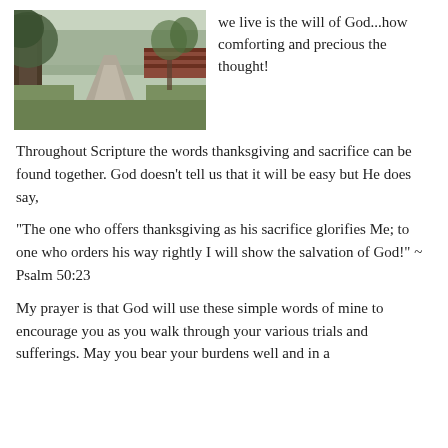[Figure (photo): Photograph of a tree-lined sidewalk path through a grassy area, with brick structures visible in the background on a misty day.]
we live is the will of God...how comforting and precious the thought!
Throughout Scripture the words thanksgiving and sacrifice can be found together. God doesn't tell us that it will be easy but He does say,
“The one who offers thanksgiving as his sacrifice glorifies Me; to one who orders his way rightly I will show the salvation of God!” ~ Psalm 50:23
My prayer is that God will use these simple words of mine to encourage you as you walk through your various trials and sufferings. May you bear your burdens well and in a